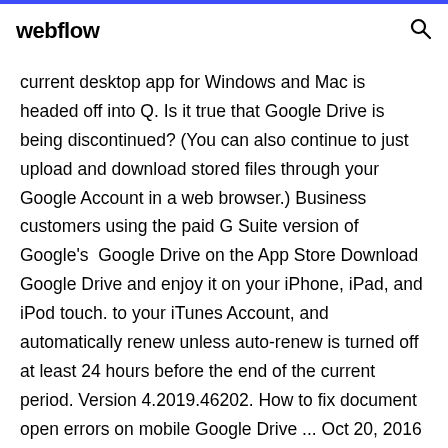webflow
current desktop app for Windows and Mac is headed off into Q. Is it true that Google Drive is being discontinued? (You can also continue to just upload and download stored files through your Google Account in a web browser.) Business customers using the paid G Suite version of Google's Google Drive on the App Store Download Google Drive and enjoy it on your iPhone, iPad, and iPod touch. to your iTunes Account, and automatically renew unless auto-renew is turned off at least 24 hours before the end of the current period. Version 4.2019.46202. How to fix document open errors on mobile Google Drive ... Oct 20, 2016 If you're having trouble opening Google Docs on your